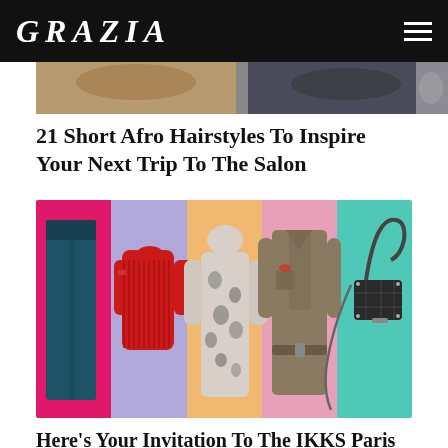GRAZIA
[Figure (photo): Partial strip image of hairstyles at the top of the page]
21 Short Afro Hairstyles To Inspire Your Next Trip To The Salon
[Figure (photo): Fashion items on colorful backgrounds: dark teal wide-leg pants on magenta, red ribbed sweater on lavender, printed maxi dress on peach, khaki belted shirtdress on pink, and dark crossbody bag on teal]
Here's Your Invitation To The IKKS Paris Fashion Week Shopping Party